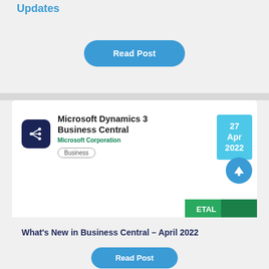Updates
Read Post
[Figure (screenshot): Screenshot of Microsoft Dynamics 365 Business Central app listing on a mobile device, showing the app icon, title 'Microsoft Dynamics 365 Business Central', publisher 'Microsoft Corporation', and a 'Business' tag. A date badge showing '27 Apr 2022' appears in the top right corner. A scroll-to-top arrow button appears at the bottom right.]
What's New in Business Central – April 2022
Read Post